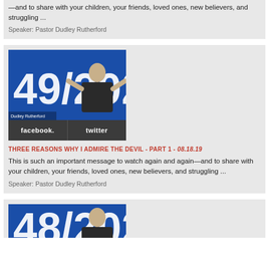—and to share with your children, your friends, loved ones, new believers, and struggling ...
Speaker: Pastor Dudley Rutherford
[Figure (screenshot): Thumbnail image of video showing a speaker with large numbers '49/202' on a blue background, with facebook and twitter share buttons below]
THREE REASONS WHY I ADMIRE THE DEVIL - PART 1 - 08.18.19
This is such an important message to watch again and again—and to share with your children, your friends, loved ones, new believers, and struggling ...
Speaker: Pastor Dudley Rutherford
[Figure (screenshot): Partial thumbnail image showing '48/202' on a blue background, partially visible at bottom of page]